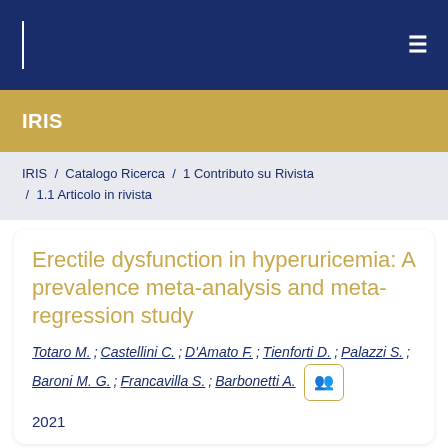IRIS
IRIS / Catalogo Ricerca / 1 Contributo su Rivista / 1.1 Articolo in rivista
Erectile dysfunction in hyperuricemia: A prevalence meta-analysis and meta-regression study
Totaro M.; Castellini C.; D'Amato F.; Tienforti D.; Palazzi S.; Baroni M. G.; Francavilla S.; Barbonetti A.
2021